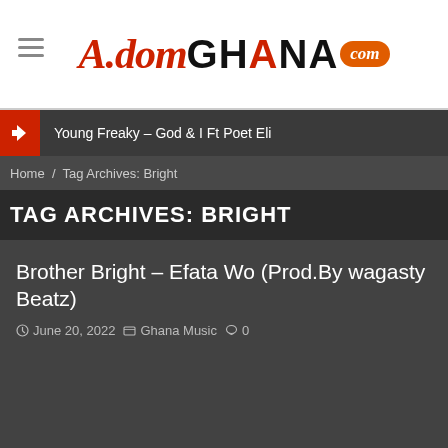[Figure (logo): AdomGhana.com logo with hamburger menu icon]
Young Freaky – God & I Ft Poet Eli
Home / Tag Archives: Bright
TAG ARCHIVES: BRIGHT
Brother Bright – Efata Wo (Prod.By wagasty Beatz)
June 20, 2022   Ghana Music   0